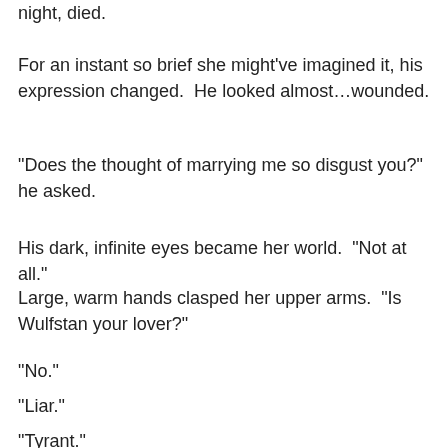night, died.
For an instant so brief she might've imagined it, his expression changed.  He looked almost…wounded.
“Does the thought of marrying me so disgust you?” he asked.
His dark, infinite eyes became her world.  “Not at all.”
Large, warm hands clasped her upper arms.  “Is Wulfstan your lover?”
“No.”
“Liar.”
“Tyrant.”